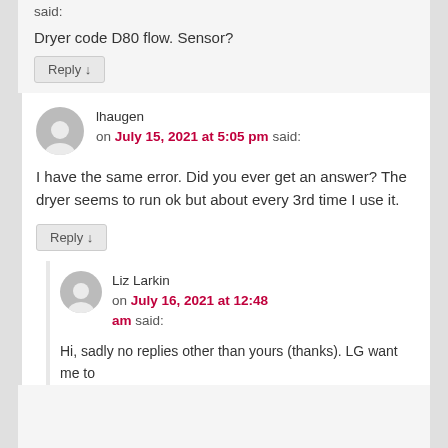said:
Dryer code D80 flow. Sensor?
Reply ↓
lhaugen on July 15, 2021 at 5:05 pm said:
I have the same error. Did you ever get an answer? The dryer seems to run ok but about every 3rd time I use it.
Reply ↓
Liz Larkin on July 16, 2021 at 12:48 am said:
Hi, sadly no replies other than yours (thanks). LG want me to